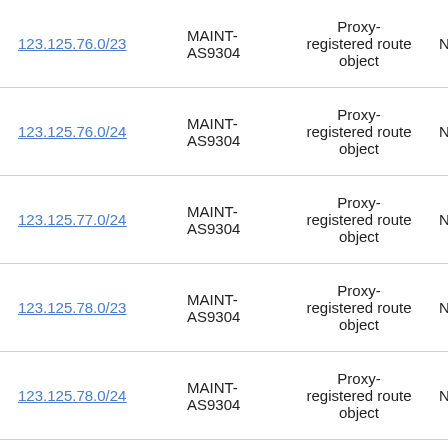| IP Range | Maintainer | Type | Provider |
| --- | --- | --- | --- |
| 123.125.76.0/23 | MAINT-AS9304 | Proxy-registered route object | NTTC |
| 123.125.76.0/24 | MAINT-AS9304 | Proxy-registered route object | NTTC |
| 123.125.77.0/24 | MAINT-AS9304 | Proxy-registered route object | NTTC |
| 123.125.78.0/23 | MAINT-AS9304 | Proxy-registered route object | NTTC |
| 123.125.78.0/24 | MAINT-AS9304 | Proxy-registered route object | NTTC |
| 123.125.79.0/24 | MAINT-AS9304 | Proxy-registered route object | NTTC |